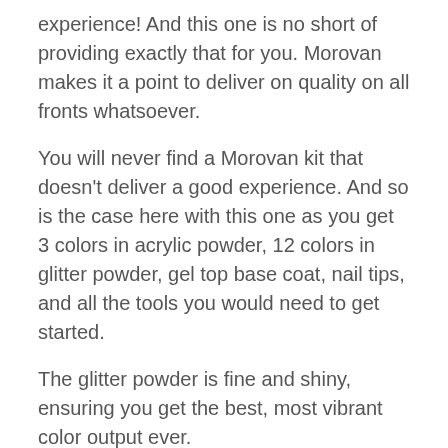experience! And this one is no short of providing exactly that for you. Morovan makes it a point to deliver on quality on all fronts whatsoever.
You will never find a Morovan kit that doesn't deliver a good experience. And so is the case here with this one as you get 3 colors in acrylic powder, 12 colors in glitter powder, gel top base coat, nail tips, and all the tools you would need to get started.
The glitter powder is fine and shiny, ensuring you get the best, most vibrant color output ever.
The three color options for acrylic powder enable you to have a pick from your favorite one, and no matter which one you choose, it